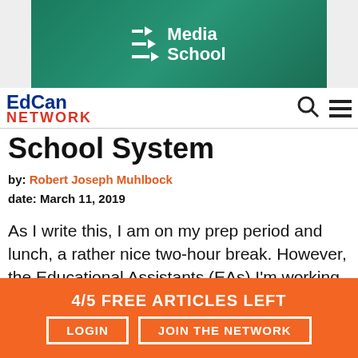[Figure (logo): Media School banner with green background, arrow logo, and white text reading 'Media School']
[Figure (logo): EdCan Network logo with blue and red text]
School System
by: Robert Joseph Muhlbock
date: March 11, 2019
As I write this, I am on my prep period and lunch, a rather nice two-hour break. However, the Educational Assistants (EAs) I'm working with aren't so lucky. I prep during lunchtime, too, but they rarely seem to
4/5 FREE ARTICLES LEFT
LOGIN    JOIN THE NETWORK